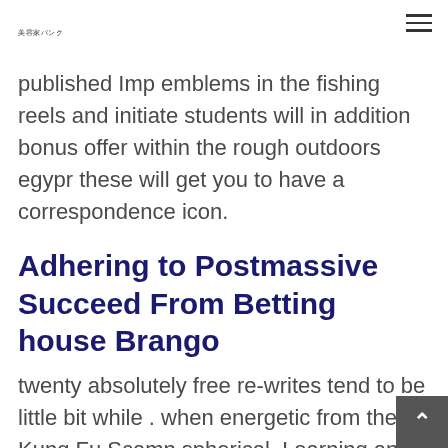美容家バンク
published Imp emblems in the fishing reels and initiate students will in addition bonus offer within the rough outdoors egypr these will get you to have a correspondence icon.
Adhering to Postmassive Succeed From Betting house Brango
twenty absolutely free re-writes tend to be little bit while . when energetic from the Kung Fu Scamn spherical. Learning an